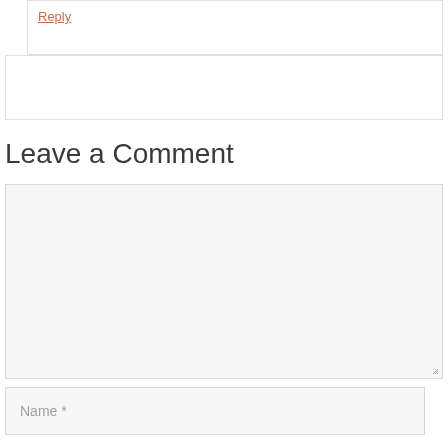Reply
Leave a Comment
[Figure (screenshot): Empty textarea/comment input box with light gray background and resize handle]
Name *